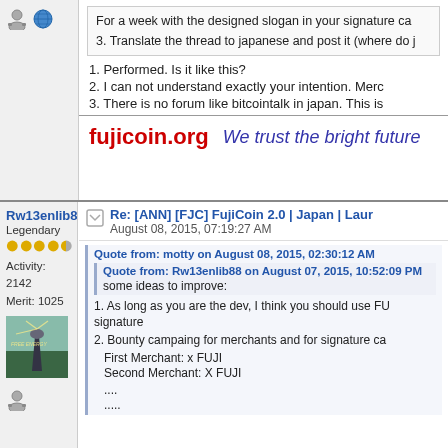[Figure (screenshot): Forum user icons: person and globe icons in top-left sidebar]
For a week with the designed slogan in your signature ca
3. Translate the thread to japanese and post it (where do j
1. Performed. Is it like this?
2. I can not understand exactly your intention. Merc
3. There is no forum like bitcointalk in japan. This is
fujicoin.org   We trust the bright future
Rw13enlib88
Legendary
Activity: 2142
Merit: 1025
[Figure (photo): Avatar image - tower with 'FREE ENERGY' text on teal/green background]
Re: [ANN] [FJC] FujiCoin 2.0 | Japan | Laur
August 08, 2015, 07:19:27 AM
Quote from: motty on August 08, 2015, 02:30:12 AM
Quote from: Rw13enlib88 on August 07, 2015, 10:52:09 PM
some ideas to improve:
1. As long as you are the dev, I think you should use FU signature
2. Bounty campaing for merchants and for signature ca
First Merchant: x FUJI
Second Merchant: X FUJI
....
.....